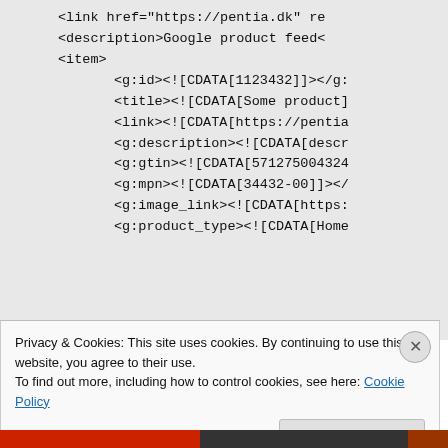<link href="https://pentia.dk" re
<description>Google product feed<
<item>
    <g:id><![CDATA[1123432]]></g:
    <title><![CDATA[Some product]
    <link><![CDATA[https://pentia
    <g:description><![CDATA[descr
    <g:gtin><![CDATA[571275004324
    <g:mpn><![CDATA[34432-00]]></
    <g:image_link><![CDATA[https:
    <g:product_type><![CDATA[Home
Privacy & Cookies: This site uses cookies. By continuing to use this website, you agree to their use.
To find out more, including how to control cookies, see here: Cookie Policy